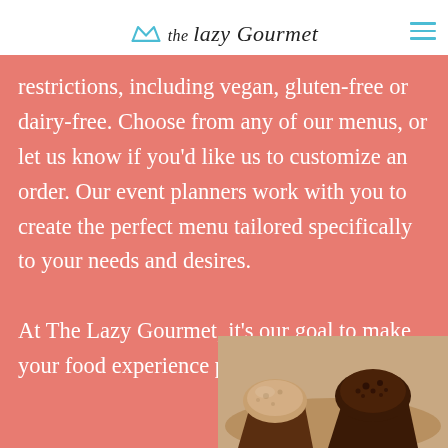the lazy Gourmet
restrictions, including vegan, gluten-free or dairy-free. Choose from any of our menus, or let us know if you’d like us to customize an order. Our event planners work with you to create the perfect menu tailored specifically to your needs and desires.

At The Lazy Gourmet, it’s our goal to make your food experience perfect and memorable.
[Figure (photo): Photo of muffins in brown paper cups on a plate, partially visible at bottom right corner of the page]